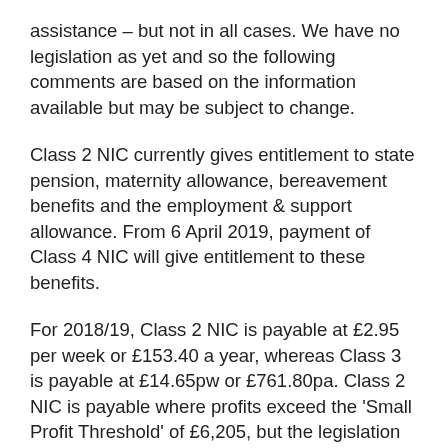assistance – but not in all cases. We have no legislation as yet and so the following comments are based on the information available but may be subject to change.
Class 2 NIC currently gives entitlement to state pension, maternity allowance, bereavement benefits and the employment & support allowance. From 6 April 2019, payment of Class 4 NIC will give entitlement to these benefits.
For 2018/19, Class 2 NIC is payable at £2.95 per week or £153.40 a year, whereas Class 3 is payable at £14.65pw or £761.80pa. Class 2 NIC is payable where profits exceed the 'Small Profit Threshold' of £6,205, but the legislation allows the self-employed with profits below this to pay Class 2 NIC voluntarily.
From 2019/20, it has been announced that Class 2 NIC will be abolished but that for those self-employed persons with profits below the lower earnings limit, Class 4 NIC Small Profit...